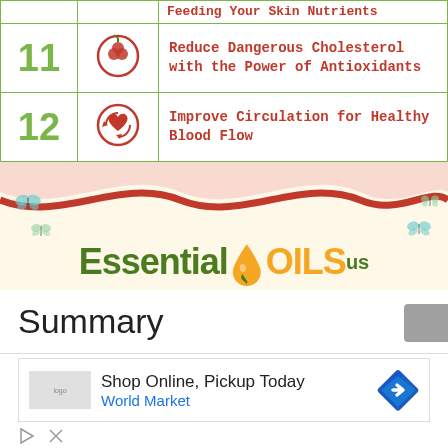| # | Icon | Description |
| --- | --- | --- |
| (partial) |  | Feeding Your Skin Nutrients |
| 11 | (antioxidant icon) | Reduce Dangerous Cholesterol with the Power of Antioxidants |
| 12 | (circulation icon) | Improve Circulation for Healthy Blood Flow |
[Figure (infographic): Essential Oils Us branded banner with wave design, drop logo, and butterfly decorations]
Summary
For centuries, rosehip essential oil has been a staple of beauty and
[Figure (other): Advertisement: Shop Online, Pickup Today - World Market with navigation arrow icon]